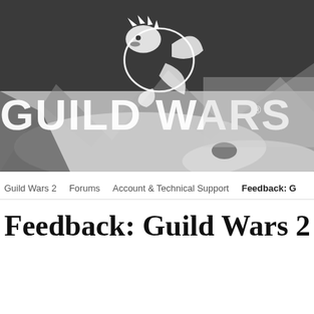[Figure (illustration): Guild Wars 2 header banner with a dragon logo on dark background, transitioning to a lighter landscape scene. The Guild Wars 2 logo with a white dragon and the text GUILD WARS with a registered trademark symbol is displayed prominently.]
Guild Wars 2   Forums   Account & Technical Support   Feedback: G
Feedback: Guild Wars 2 Mac